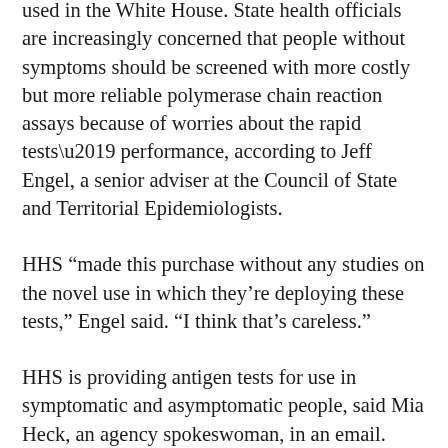used in the White House. State health officials are increasingly concerned that people without symptoms should be screened with more costly but more reliable polymerase chain reaction assays because of worries about the rapid tests' performance, according to Jeff Engel, a senior adviser at the Council of State and Territorial Epidemiologists.
HHS “made this purchase without any studies on the novel use in which they’re deploying these tests,” Engel said. “I think that’s careless.”
HHS is providing antigen tests for use in symptomatic and asymptomatic people, said Mia Heck, an agency spokeswoman, in an email. Widespread, affordable rapid antigen testing helps slow the virus’s spread, and tests like BinaxNOW, when used as intended, can detect those most likely to be infectious, Abbott said in an email. Its shares gained 3.6% at 12:51 p.m. in New York.